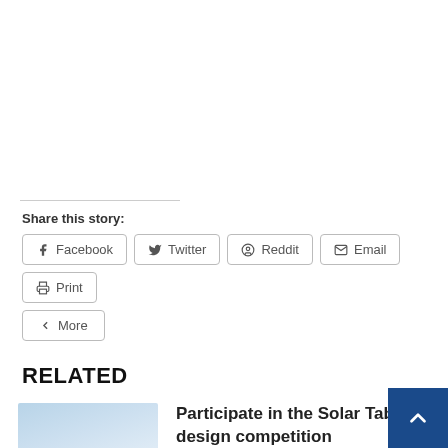Share this story:
Facebook
Twitter
Reddit
Email
Print
More
RELATED
[Figure (photo): Blue sky with light clouds]
Participate in the Solar Table design competition